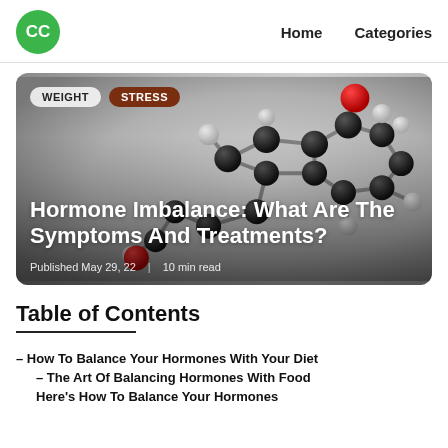CC  Home  Categories
[Figure (photo): 3D molecular model of a hormone (steroid-like structure) with black carbon atoms, grey/white hydrogen atoms, and red oxygen atoms, on a grey gradient background. Overlay tags: WEIGHT, STRESS. Title: Hormone Imbalance: What Are The Symptoms And Treatments? Published May 29, 22 | 10 min read]
Table of Contents
– How To Balance Your Hormones With Your Diet
– The Art Of Balancing Hormones With Food
Here's How To Balance Your Hormones